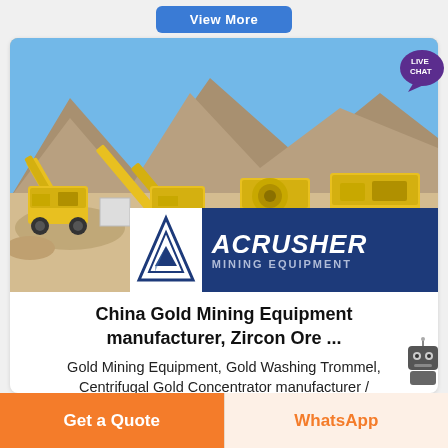[Figure (other): Blue rounded button labeled 'View More' on grey background at top]
[Figure (photo): Mining site with yellow heavy equipment and machinery (crushers, conveyor belts) on sandy desert terrain with rocky mountains in background and blue sky. ACRUSHER Mining Equipment logo overlaid at bottom right of photo.]
China Gold Mining Equipment manufacturer, Zircon Ore ...
Gold Mining Equipment, Gold Washing Trommel, Centrifugal Gold Concentrator manufacturer /
Get a Quote
WhatsApp